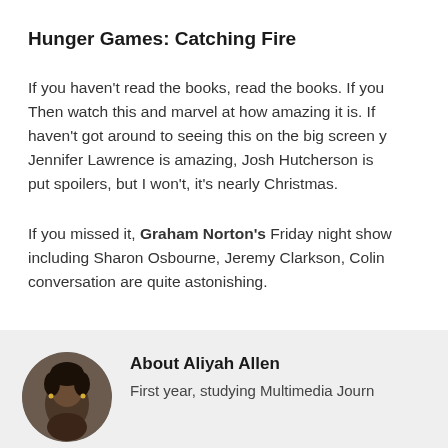Hunger Games: Catching Fire
If you haven't read the books, read the books. If you… Then watch this and marvel at how amazing it is. If you haven't got around to seeing this on the big screen y… Jennifer Lawrence is amazing, Josh Hutcherson is … put spoilers, but I won't, it's nearly Christmas.
If you missed it, Graham Norton's Friday night show… including Sharon Osbourne, Jeremy Clarkson, Colin… conversation are quite astonishing.
About Aliyah Allen
First year, studying Multimedia Journ…